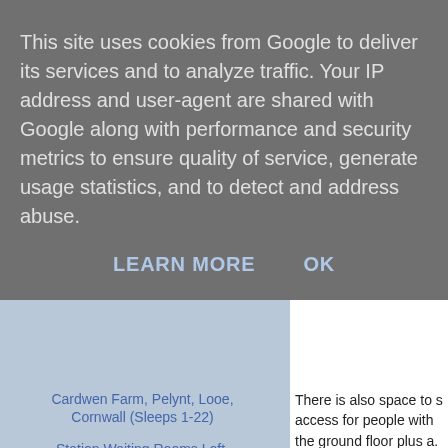This site uses cookies from Google to deliver its services and to analyze traffic. Your IP address and user-agent are shared with Google along with performance and security metrics to ensure quality of service, generate usage statistics, and to detect and address abuse.
LEARN MORE   OK
Cardwen Farm, Pelynt, Looe, Cornwall (Sleeps 1-22)
Station Waiting Rooms Loft, Robin Hoods Bay, Whitb...
Tregrehan Garden Holiday Cottages, Par, St Austell...
Grove Farm Holidays, Repps-with-Bastwick, Great Ya...
Grove Farm Holidays, Repps-with-Bastwick, Great Ya...
Ty Coed, Llanrhaeadr-ym-Mochnant, Powys (Sleeps 1-4)
There is also space to s access for people with the ground floor plus a.
There is a private patio are welcome to share o vegetable garden.
Ropemaker's Cottage is floral park and displays.
Seven miles east of We and home to Somerse...